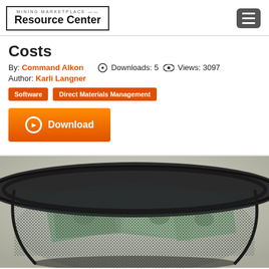MINING MARKETPLACE — Resource Center
Costs
By: Command Alkon    Downloads: 5    Views: 3097
Author: Karli Langner
Software
Direct Materials Management
[Figure (other): Orange Download button with circle-play icon]
[Figure (photo): Photo of a wire mesh wastebasket filled with crumpled US dollar bills, on a grey background]